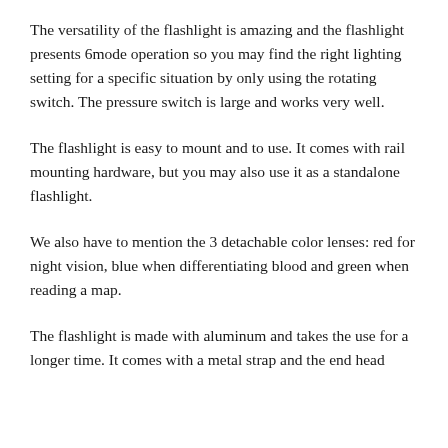The versatility of the flashlight is amazing and the flashlight presents 6mode operation so you may find the right lighting setting for a specific situation by only using the rotating switch. The pressure switch is large and works very well.
The flashlight is easy to mount and to use. It comes with rail mounting hardware, but you may also use it as a standalone flashlight.
We also have to mention the 3 detachable color lenses: red for night vision, blue when differentiating blood and green when reading a map.
The flashlight is made with aluminum and takes the use for a longer time. It comes with a metal strap and the end head...